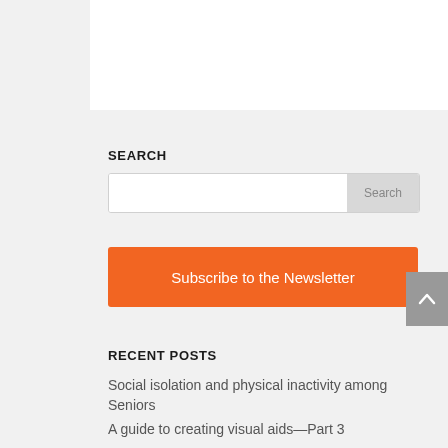SEARCH
[Figure (screenshot): Search input box with Search button]
[Figure (screenshot): Orange Subscribe to the Newsletter button]
RECENT POSTS
Social isolation and physical inactivity among Seniors
A guide to creating visual aids—Part 3